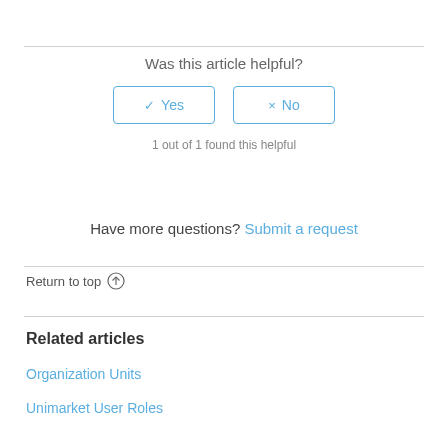Was this article helpful?
✓ Yes | × No
1 out of 1 found this helpful
Have more questions? Submit a request
Return to top ↑
Related articles
Organization Units
Unimarket User Roles